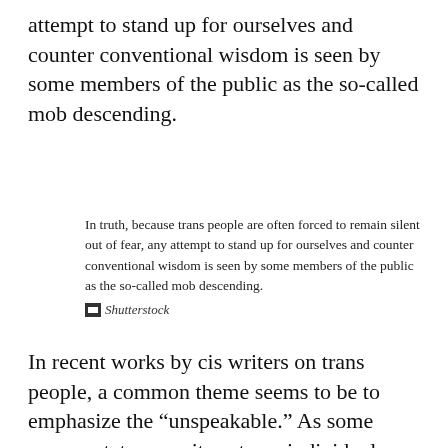attempt to stand up for ourselves and counter conventional wisdom is seen by some members of the public as the so-called mob descending.
In truth, because trans people are often forced to remain silent out of fear, any attempt to stand up for ourselves and counter conventional wisdom is seen by some members of the public as the so-called mob descending.
Shutterstock
In recent works by cis writers on trans people, a common theme seems to be to emphasize the “unspeakable.” As some commentators see it, as trans individuals,